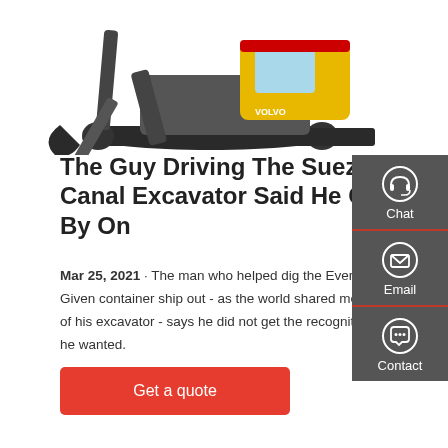[Figure (photo): A compact Volvo mini excavator with yellow cab and black tracks, shown against a white background with bucket arm extended to the left.]
The Guy Driving The Suez Canal Excavator Said He Got By On
Mar 25, 2021 · The man who helped dig the Ever Given container ship out - as the world shared memes of his excavator - says he did not get the recognition he wanted.
Get a quote
[Figure (infographic): Dark grey sidebar panel with Chat, Email, and Contact icons and labels, separated by red horizontal lines.]